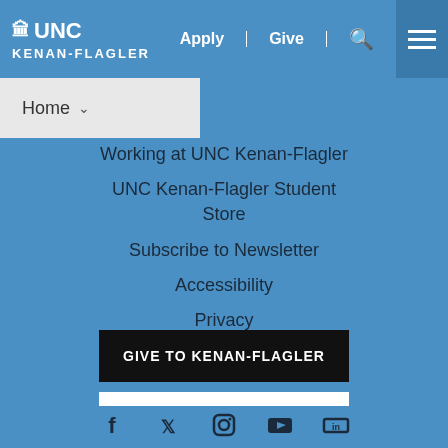UNC KENAN-FLAGLER | Apply | Give | Search | Menu
Home
Working at UNC Kenan-Flagler
UNC Kenan-Flagler Student Store
Subscribe to Newsletter
Accessibility
Privacy
GIVE TO KENAN-FLAGLER
GO TO UNC.EDU